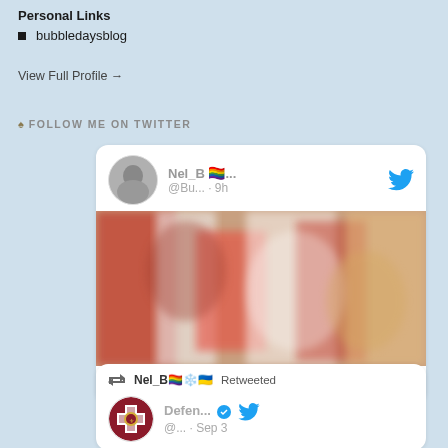Personal Links
bubbledaysblog
View Full Profile →
♠ FOLLOW ME ON TWITTER
[Figure (screenshot): Tweet by Nel_B with rainbow flag emoji, handle @Bu... · 9h, with a blurry photo of people in red and white clothing, showing a comment icon and heart icon with count 2]
[Figure (screenshot): Retweet section: Nel_B with rainbow/snowflake/Ukraine flag emojis Retweeted. Below: Defen... account with verified blue badge, handle @... · Sep 3]